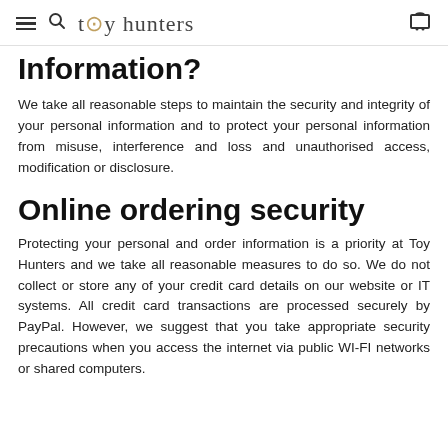toy hunters
Information?
We take all reasonable steps to maintain the security and integrity of your personal information and to protect your personal information from misuse, interference and loss and unauthorised access, modification or disclosure.
Online ordering security
Protecting your personal and order information is a priority at Toy Hunters and we take all reasonable measures to do so. We do not collect or store any of your credit card details on our website or IT systems. All credit card transactions are processed securely by PayPal. However, we suggest that you take appropriate security precautions when you access the internet via public WI-FI networks or shared computers.